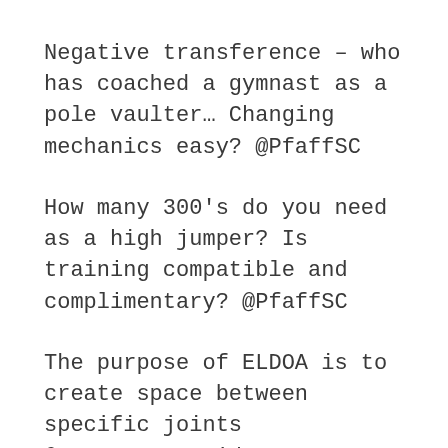Negative transference – who has coached a gymnast as a pole vaulter… Changing mechanics easy? @PfaffSC
How many 300's do you need as a high jumper? Is training compatible and complimentary? @PfaffSC
The purpose of ELDOA is to create space between specific joints @DrGerryRamogida